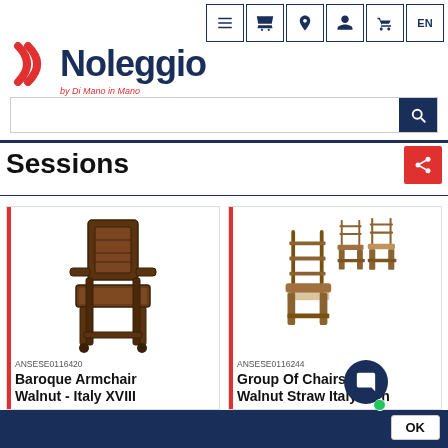Noleggio by Di Mano in Mano — navigation header with search bar
Sessions
[Figure (photo): Baroque Armchair Walnut product photo — dark wood ornate armchair with carved details]
ANSESE0116420
Baroque Armchair Walnut - Italy XVIII
[Figure (photo): Group of chairs — Walnut straw chairs Italy 19th century, multiple chairs shown]
ANSESE0116244
Group Of Chairs Walnut Straw Italy 19th